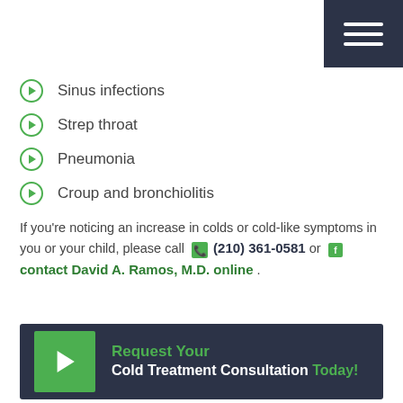[Figure (screenshot): Navigation hamburger menu button in dark navy background, top-right corner]
Sinus infections
Strep throat
Pneumonia
Croup and bronchiolitis
If you're noticing an increase in colds or cold-like symptoms in you or your child, please call (210) 361-0581 or contact David A. Ramos, M.D. online .
[Figure (infographic): Dark navy CTA banner: Request Your Cold Treatment Consultation Today! with green arrow box and green/white text]
Hours and Directions
R FAMILY MEDICAL GROUP
[Figure (map): Street map strip showing partial neighborhood map at bottom of page]